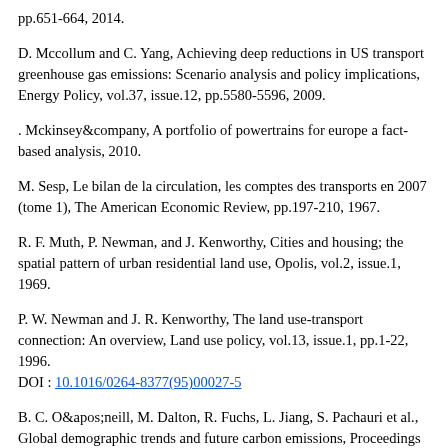pp.651-664, 2014.
D. Mccollum and C. Yang, Achieving deep reductions in US transport greenhouse gas emissions: Scenario analysis and policy implications, Energy Policy, vol.37, issue.12, pp.5580-5596, 2009.
. Mckinsey&amp;company, A portfolio of powertrains for europe a fact-based analysis, 2010.
M. Sesp, Le bilan de la circulation, les comptes des transports en 2007 (tome 1), The American Economic Review, pp.197-210, 1967.
R. F. Muth, P. Newman, and J. Kenworthy, Cities and housing; the spatial pattern of urban residential land use, Opolis, vol.2, issue.1, 1969.
P. W. Newman and J. R. Kenworthy, The land use-transport connection: An overview, Land use policy, vol.13, issue.1, pp.1-22, 1996.
DOI : 10.1016/0264-8377(95)00027-5
B. C. O&apos;neill, M. Dalton, R. Fuchs, L. Jiang, S. Pachauri et al., Global demographic trends and future carbon emissions, Proceedings of the National Academy of Sciences, vol.107, issue.41, pp.17521-17526, 2010.